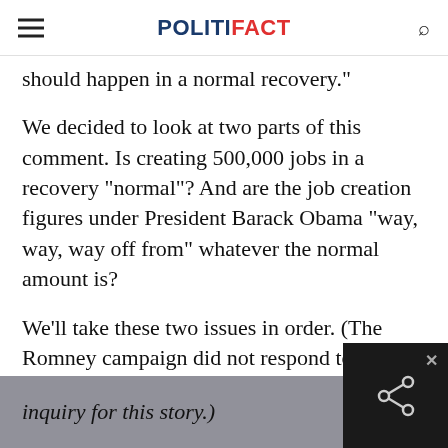POLITIFACT
should happen in a normal recovery."
We decided to look at two parts of this comment. Is creating 500,000 jobs in a recovery "normal"? And are the job creation figures under President Barack Obama "way, way, way off from" whatever the normal amount is?
We'll take these two issues in order. (The Romney campaign did not respond to an inquiry for this story.)